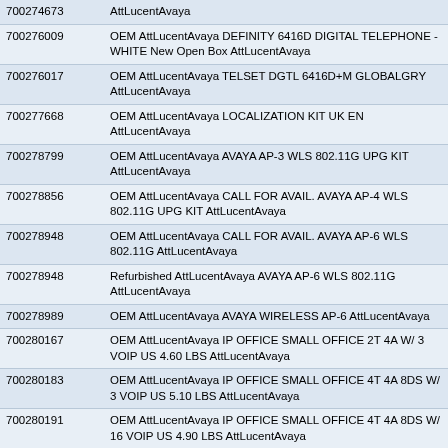| Part Number | Description |
| --- | --- |
| 700274673 | AttLucentAvaya |
| 700276009 | OEM AttLucentAvaya DEFINITY 6416D DIGITAL TELEPHONE - WHITE New Open Box AttLucentAvaya |
| 700276017 | OEM AttLucentAvaya TELSET DGTL 6416D+M GLOBALGRY AttLucentAvaya |
| 700277668 | OEM AttLucentAvaya LOCALIZATION KIT UK EN AttLucentAvaya |
| 700278799 | OEM AttLucentAvaya AVAYA AP-3 WLS 802.11G UPG KIT AttLucentAvaya |
| 700278856 | OEM AttLucentAvaya CALL FOR AVAIL. AVAYA AP-4 WLS 802.11G UPG KIT AttLucentAvaya |
| 700278948 | OEM AttLucentAvaya CALL FOR AVAIL. AVAYA AP-6 WLS 802.11G AttLucentAvaya |
| 700278948 | Refurbished AttLucentAvaya AVAYA AP-6 WLS 802.11G AttLucentAvaya |
| 700278989 | OEM AttLucentAvaya AVAYA WIRELESS AP-6 AttLucentAvaya |
| 700280167 | OEM AttLucentAvaya IP OFFICE SMALL OFFICE 2T 4A W/ 3 VOIP US 4.60 LBS AttLucentAvaya |
| 700280183 | OEM AttLucentAvaya IP OFFICE SMALL OFFICE 4T 4A 8DS W/ 3 VOIP US 5.10 LBS AttLucentAvaya |
| 700280191 | OEM AttLucentAvaya IP OFFICE SMALL OFFICE 4T 4A 8DS W/ 16 VOIP US 4.90 LBS AttLucentAvaya |
| 700280795 | OEM AttLucentAvaya CALL FOR AVAIL. CAJUN MODULE 80 SERIES L2/L3 1000BT GBIC COPPER AttLucentAvaya |
| 700281579 | OEM AttLucentAvaya CALL FOR AVAIL. C460 48PT 10/100 2BIC MULTILAYER INLINE PWR MOD AttLucentAvaya |
| 700281587 | OEM AttLucentAvaya CALL FOR AVAIL. C460 48PT 10/100 MULTILAYER INLINE PWR MOD AttLucentAvaya |
| 700281595 | OEM AttLucentAvaya CALL FOR AVAIL. C460 1000W P/S AC INLINE PWR AttLucentAvaya |
| 700281603 | OEM AttLucentAvaya CALL FOR AVAIL. C460 SWCH POE BASIC CONFIG W/ SUP P/S FAN AttLucentAvaya |
| 700281694 | OEM AttLucentAvaya G350 MEDIA GATEWAY EN AttLucentAvaya |